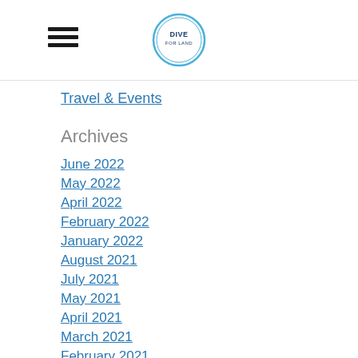[Figure (logo): Dive for Land circular logo with blue circle border and text DIVE FOR LAND in center]
Travel & Events
Archives
June 2022
May 2022
April 2022
February 2022
January 2022
August 2021
July 2021
May 2021
April 2021
March 2021
February 2021
January 2021
December 2020
November 2020